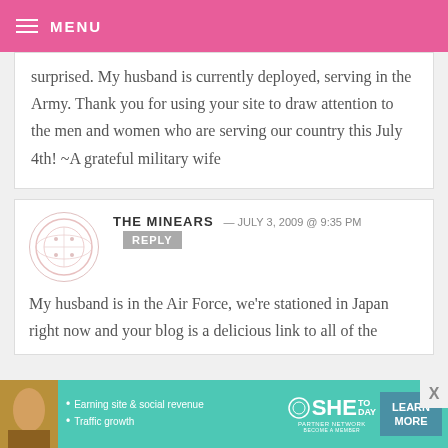MENU
surprised. My husband is currently deployed, serving in the Army. Thank you for using your site to draw attention to the men and women who are serving our country this July 4th! ~A grateful military wife
THE MINEARS — JULY 3, 2009 @ 9:35 PM REPLY
My husband is in the Air Force, we're stationed in Japan right now and your blog is a delicious link to all of the
[Figure (other): Advertisement banner: SHE Partner Network - Earning site & social revenue, Traffic growth. Learn More button.]